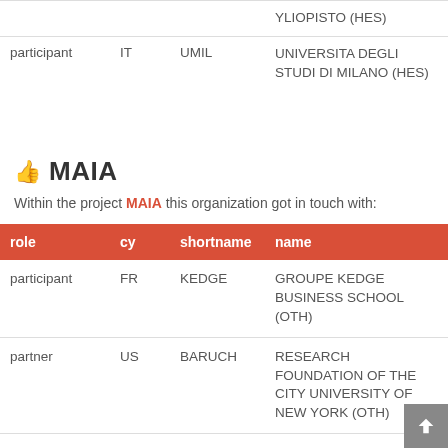| role | cy | shortname | name |
| --- | --- | --- | --- |
|  |  |  | YLIOPISTO (HES) |
| participant | IT | UMIL | UNIVERSITA DEGLI STUDI DI MILANO (HES) |
👍 MAIA
Within the project MAIA this organization got in touch with:
| role | cy | shortname | name |
| --- | --- | --- | --- |
| participant | FR | KEDGE | GROUPE KEDGE BUSINESS SCHOOL (OTH) |
| partner | US | BARUCH | RESEARCH FOUNDATION OF THE CITY UNIVERSITY OF NEW YORK (OTH) |